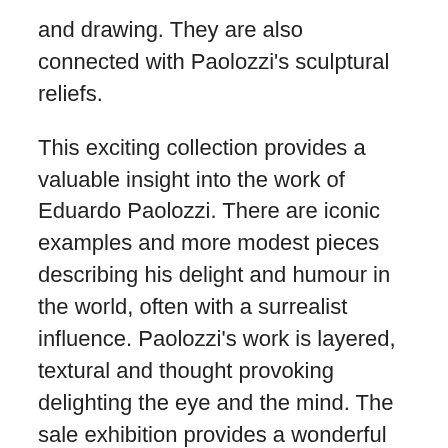and drawing. They are also connected with Paolozzi's sculptural reliefs.
This exciting collection provides a valuable insight into the work of Eduardo Paolozzi. There are iconic examples and more modest pieces describing his delight and humour in the world, often with a surrealist influence. Paolozzi's work is layered, textural and thought provoking delighting the eye and the mind. The sale exhibition provides a wonderful opportunity to see this famous artist's work and to acquire an example for your own collection. It is on view from Saturday 22nd March 2014 and will be auctioned on the morning of Wednesday 26th March 2014. Further details of opening times and images are available on tooveys.com. Catalogues are available from Toovey's offices or by telephoning 01903 891955.
By Revd. Rupert Toovey. Originally published on 19th